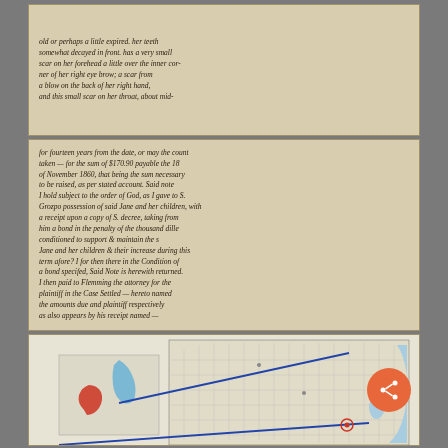[Figure (photo): Scanned handwritten legal document page 1 - cursive text describing physical characteristics, mentions scar on forehead, right eye brow, back of right hand, and small scar on throat]
[Figure (photo): Scanned handwritten legal document page 2 - cursive text mentioning fourteen years from the date, sum of $170.90 payable the 18th of November 1860, references to children, plaintiff, Flemming, and attorney for plaintiff, with partial signature visible at bottom]
[Figure (map): Map of Virginia showing counties with blue diagonal lines indicating direction/location, red blob marker on left side indicating a specific location in western Virginia, and a small circled point in southeastern Virginia near the coast. Share button overlay in bottom right.]